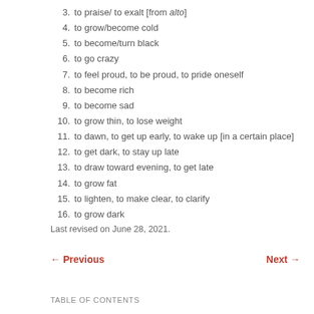3. to praise/ to exalt [from alto]
4. to grow/become cold
5. to become/turn black
6. to go crazy
7. to feel proud, to be proud, to pride oneself
8. to become rich
9. to become sad
10. to grow thin, to lose weight
11. to dawn, to get up early, to wake up [in a certain place]
12. to get dark, to stay up late
13. to draw toward evening, to get late
14. to grow fat
15. to lighten, to make clear, to clarify
16. to grow dark
Last revised on June 28, 2021.
← Previous   Next →
TABLE OF CONTENTS